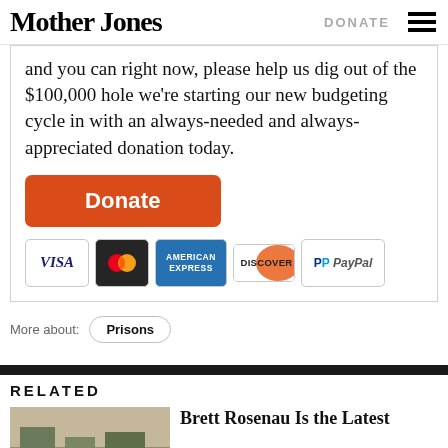Mother Jones | DONATE
and you can right now, please help us dig out of the $100,000 hole we're starting our new budgeting cycle in with an always-needed and always-appreciated donation today.
[Figure (other): Orange Donate button followed by payment method icons: VISA, MasterCard, American Express, Discover, PayPal]
More about: Prisons
RELATED
[Figure (photo): Outdoor photo thumbnail for related article]
Brett Rosenau Is the Latest